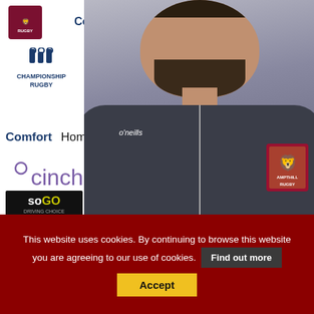[Figure (photo): A man wearing a dark grey Ampthill Rugby O'Neills jacket stands in front of a sponsor backdrop featuring logos: Ampthill Rugby, O'Neills, Comfort Homecare, Championship Rugby (x3), cinch, SOGO Driving Choice.]
This website uses cookies. By continuing to browse this website you are agreeing to our use of cookies.
Find out more
Accept